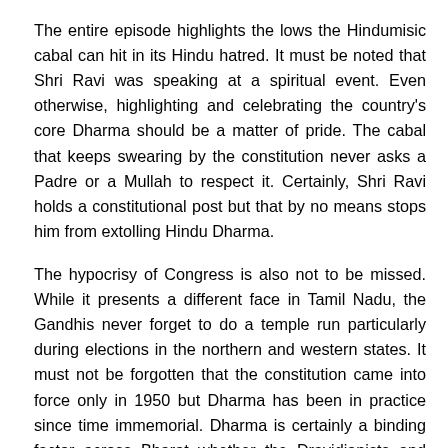The entire episode highlights the lows the Hindumisic cabal can hit in its Hindu hatred. It must be noted that Shri Ravi was speaking at a spiritual event. Even otherwise, highlighting and celebrating the country's core Dharma should be a matter of pride. The cabal that keeps swearing by the constitution never asks a Padre or a Mullah to respect it. Certainly, Shri Ravi holds a constitutional post but that by no means stops him from extolling Hindu Dharma.
The hypocrisy of Congress is also not to be missed. While it presents a different face in Tamil Nadu, the Gandhis never forget to do a temple run particularly during elections in the northern and western states. It must not be forgotten that the constitution came into force only in 1950 but Dharma has been in practice since time immemorial. Dharma is certainly a binding factor across Bharat whether the Dravidianists and secular like it or not.